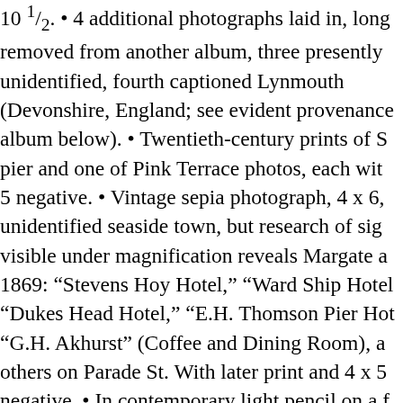10 ½. • 4 additional photographs laid in, long removed from another album, three presently unidentified, fourth captioned Lynmouth (Devonshire, England; see evident provenance album below). • Twentieth-century prints of S pier and one of Pink Terrace photos, each with 5 negative. • Vintage sepia photograph, 4 x 6, unidentified seaside town, but research of sign visible under magnification reveals Margate a 1869: "Stevens Hoy Hotel," "Ward Ship Hotel "Dukes Head Hotel," "E.H. Thomson Pier Ho "G.H. Akhurst" (Coffee and Dining Room), a others on Parade St. With later print and 4 x 5 negative. • In contemporary light pencil on a f flyleaf, "E. Lethbridge / 6 Woburn Terrace," a certainly one of "The Misses Elizabeth & Mar Lethbridge," found at this very street address i Devonshire; Elizabeth was born 1824--History Gazeteer and Directory of the County of Devo 1878-79; research accompanies. Date in penci rear "10/29/(19)49," presumed later bookselle notation. Tiny stationer's label on inside back "M.W. & Co., London." Lacking spine coverin but holding; an irregular 2 x 3 section found preserved within pages, from which its Gothic